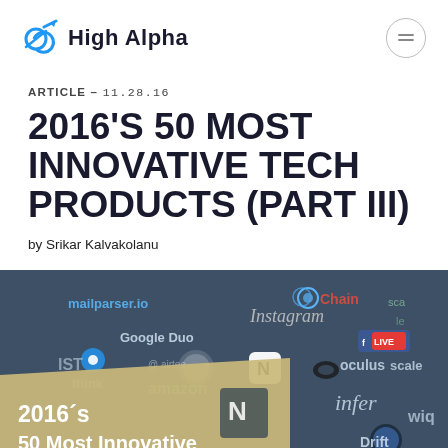High Alpha
ARTICLE - 11.28.16
2016'S 50 MOST INNOVATIVE TECH PRODUCTS (PART III)
by Srikar Kalvakolanu
[Figure (illustration): Hero image showing a collage of tech product logos including mailparser.io, Instagram, Chain, Google Duo, Facebook Live, Notion, Oculus, infer, Drift, Amazon, and others on a dark blue background, with a tan/gold overlay banner at the bottom left reading '2016's 50 Most Innovative']